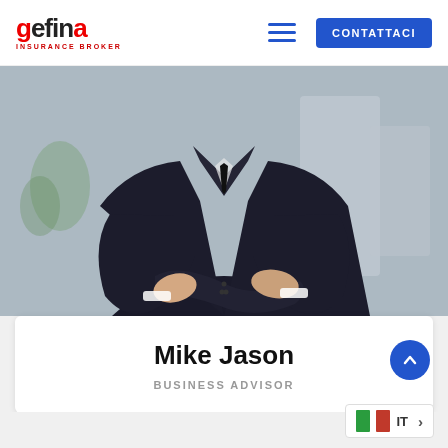gefina INSURANCE BROKER — CONTATTACI
[Figure (photo): Photo of a man in a dark business suit with arms crossed, blurred office background]
Mike Jason
BUSINESS ADVISOR
[Figure (other): Scroll-to-top blue circular button with upward chevron]
[Figure (other): Language switcher widget showing IT (Italian) flag and label with arrow]